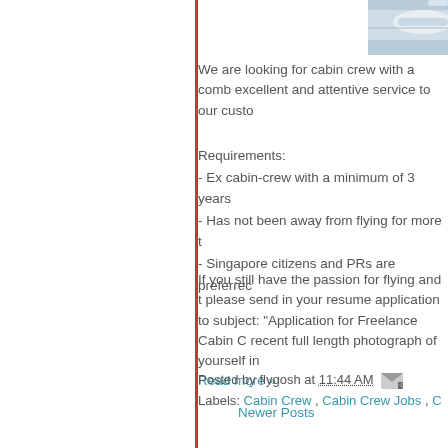[Figure (photo): Partial photo of an airplane, showing the front/nose section, blue and white colors]
We are looking for cabin crew with a comb excellent and attentive service to our custo
Requirements:
- Ex cabin-crew with a minimum of 3 years
- Has not been away from flying for more t
- Singapore citizens and PRs are preferrec
If you still have the passion for flying and t please send in your resume application to subject: "Application for Freelance Cabin C recent full length photograph of yourself in
Read more »
Posted by flygosh at 11:44 AM
Labels: Cabin Crew , Cabin Crew Jobs , C
Newer Posts